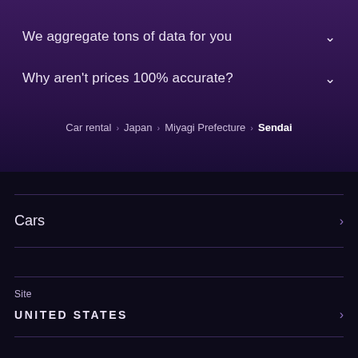We aggregate tons of data for you
Why aren't prices 100% accurate?
Car rental > Japan > Miyagi Prefecture > Sendai
Cars
Site
UNITED STATES